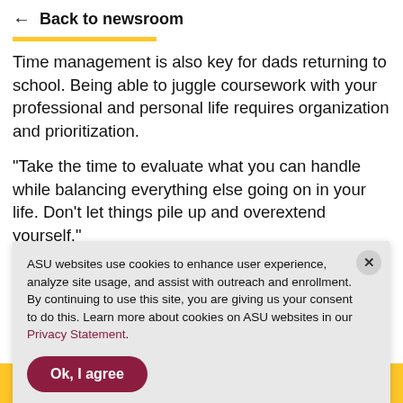← Back to newsroom
Time management is also key for dads returning to school. Being able to juggle coursework with your professional and personal life requires organization and prioritization.
“Take the time to evaluate what you can handle while balancing everything else going on in your life. Don’t let things pile up and overextend yourself.”
ASU websites use cookies to enhance user experience, analyze site usage, and assist with outreach and enrollment. By continuing to use this site, you are giving us your consent to do this. Learn more about cookies on ASU websites in our Privacy Statement.
Ok, I agree
Apply now   Contact